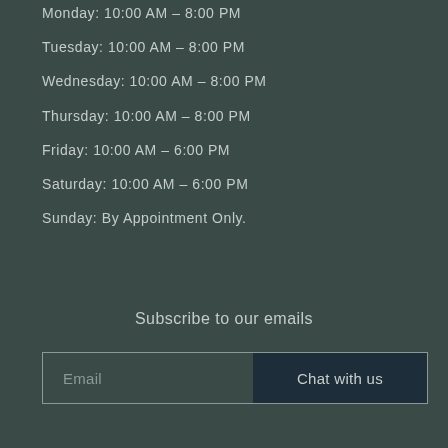Monday: 10:00 AM – 8:00 PM
Tuesday: 10:00 AM – 8:00 PM
Wednesday: 10:00 AM – 8:00 PM
Thursday: 10:00 AM – 8:00 PM
Friday: 10:00 AM – 6:00 PM
Saturday: 10:00 AM – 6:00 PM
Sunday: By Appointment Only.
Subscribe to our emails
Email
Chat with us